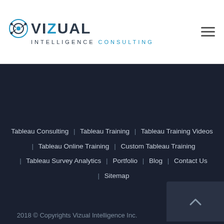VIZUAL INTELLIGENCE CONSULTING
Tableau Consulting | Tableau Training | Tableau Training Videos | Tableau Online Training | Custom Tableau Training | Tableau Survey Analytics | Portfolio | Blog | Contact Us | Sitemap
2018 © Copyrights Vizual Intelligence Inc.